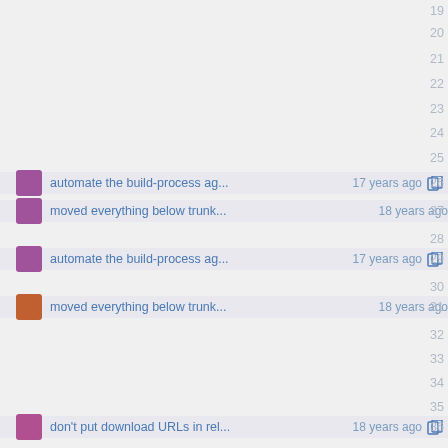19
20
21
22
23
24
25
automate the build-process ag... 17 years ago  26
moved everything below trunk... 18 years ago  27
28
automate the build-process ag... 17 years ago  29
30
moved everything below trunk... 18 years ago  31
32
33
34
35
don't put download URLs in rel... 18 years ago  36
moved everything below trunk... 18 years ago  37
38
39
40